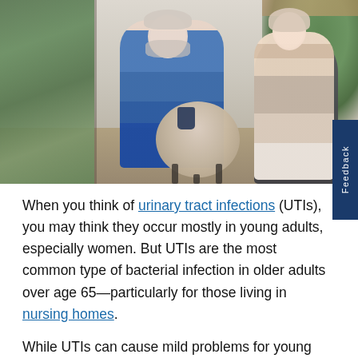[Figure (photo): Two older adults (a man with a white beard in a plaid shirt and a woman with glasses in a light top) sitting in a bright living room, reading books. A round wicker coffee table with a blue mug sits between them. Plants visible in background. A window/reflection panel is on the left.]
When you think of urinary tract infections (UTIs), you may think they occur mostly in young adults, especially women. But UTIs are the most common type of bacterial infection in older adults over age 65—particularly for those living in nursing homes.
While UTIs can cause mild problems for young adults, they can have more severe consequences in seniors. If left untreated, it can lead to kidney failure, sepsis, and life-threatening situations.